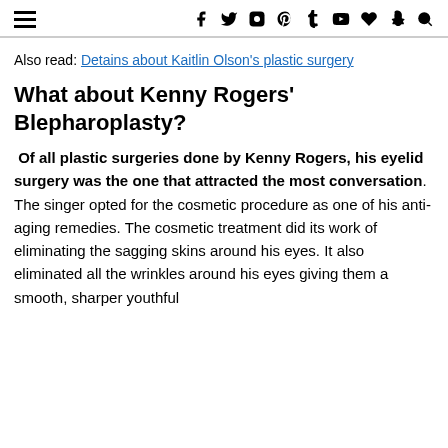☰ [social icons: f t instagram pinterest t youtube heart snapchat search]
Also read: Detains about Kaitlin Olson's plastic surgery
What about Kenny Rogers' Blepharoplasty?
Of all plastic surgeries done by Kenny Rogers, his eyelid surgery was the one that attracted the most conversation. The singer opted for the cosmetic procedure as one of his anti-aging remedies. The cosmetic treatment did its work of eliminating the sagging skins around his eyes. It also eliminated all the wrinkles around his eyes giving them a smooth, sharper youthful